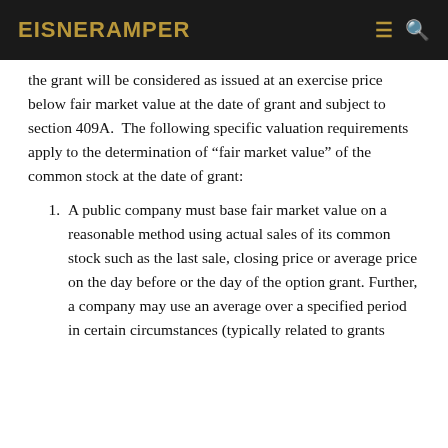EisnerAmper
the grant will be considered as issued at an exercise price below fair market value at the date of grant and subject to section 409A.  The following specific valuation requirements apply to the determination of “fair market value” of the common stock at the date of grant:
1. A public company must base fair market value on a reasonable method using actual sales of its common stock such as the last sale, closing price or average price on the day before or the day of the option grant. Further, a company may use an average over a specified period in certain circumstances (typically related to grants